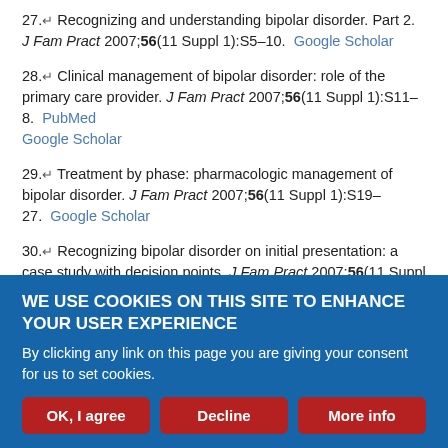27.↵ Recognizing and understanding bipolar disorder. Part 2. J Fam Pract 2007;56(11 Suppl 1):S5–10. Google Scholar
28.↵ Clinical management of bipolar disorder: role of the primary care provider. J Fam Pract 2007;56(11 Suppl 1):S11–8. PubMed Google Scholar
29.↵ Treatment by phase: pharmacologic management of bipolar disorder. J Fam Pract 2007;56(11 Suppl 1):S19–27. Google Scholar
30.↵ Recognizing bipolar disorder on initial presentation: a case study with decision points. J Fam Pract 2007;56(11 Suppl 1):S28–32. Google Scholar
WE USE COOKIES ON THIS SITE TO ENHANCE YOUR USER EXPERIENCE
By clicking any link on this page you are giving your consent for us to set cookies.